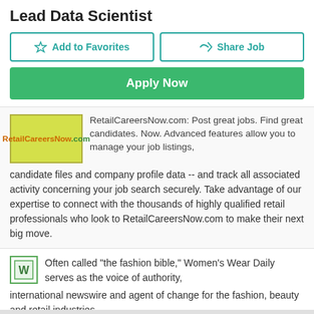Lead Data Scientist
Add to Favorites | Share Job
Apply Now
[Figure (logo): RetailCareersNow.com logo — yellow-green background with orange and green text]
RetailCareersNow.com: Post great jobs. Find great candidates. Now. Advanced features allow you to manage your job listings, candidate files and company profile data -- and track all associated activity concerning your job search securely. Take advantage of our expertise to connect with the thousands of highly qualified retail professionals who look to RetailCareersNow.com to make their next big move.
[Figure (logo): Women's Wear Daily small square logo with W icon]
Often called "the fashion bible," Women's Wear Daily serves as the voice of authority, international newswire and agent of change for the fashion, beauty and retail industries.